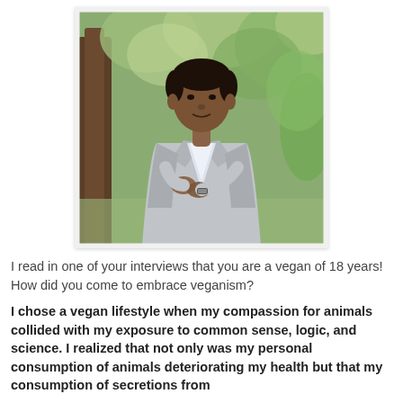[Figure (photo): A man in a light gray blazer and white shirt standing outdoors near trees, adjusting his sleeve or watch, with a blurred green foliage background.]
I read in one of your interviews that you are a vegan of 18 years! How did you come to embrace veganism?
I chose a vegan lifestyle when my compassion for animals collided with my exposure to common sense, logic, and science. I realized that not only was my personal consumption of animals deteriorating my health but that my consumption of secretions from